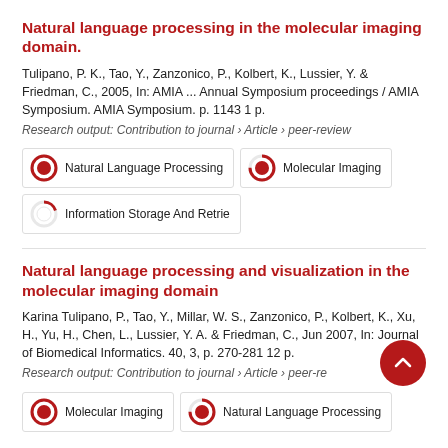Natural language processing in the molecular imaging domain.
Tulipano, P. K., Tao, Y., Zanzonico, P., Kolbert, K., Lussier, Y. & Friedman, C., 2005, In: AMIA ... Annual Symposium proceedings / AMIA Symposium. AMIA Symposium. p. 1143 1 p.
Research output: Contribution to journal › Article › peer-review
[Figure (infographic): Three keyword badges: 100% Natural Language Processing, 75% Molecular Imaging, 20% Information Storage And Retrie]
Natural language processing and visualization in the molecular imaging domain
Karina Tulipano, P., Tao, Y., Millar, W. S., Zanzonico, P., Kolbert, K., Xu, H., Yu, H., Chen, L., Lussier, Y. A. & Friedman, C., Jun 2007, In: Journal of Biomedical Informatics. 40, 3, p. 270-281 12 p.
Research output: Contribution to journal › Article › peer-review
[Figure (infographic): Two keyword badges: 100% Molecular Imaging, 75% Natural Language Processing]